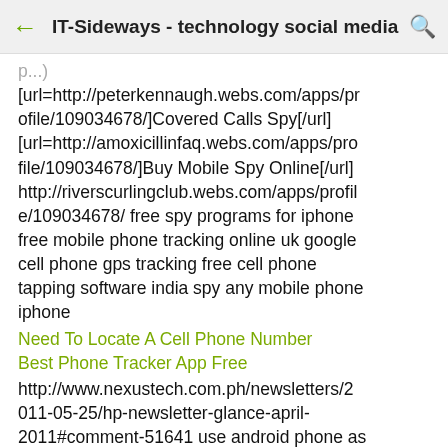IT-Sideways - technology social media
[url=http://peterkennaugh.webs.com/apps/profile/109034678/]Covered Calls Spy[/url] [url=http://amoxicillinfaq.webs.com/apps/profile/109034678/]Buy Mobile Spy Online[/url] http://riverscurlingclub.webs.com/apps/profile/109034678/ free spy programs for iphone free mobile phone tracking online uk google cell phone gps tracking free cell phone tapping software india spy any mobile phone iphone
Need To Locate A Cell Phone Number
Best Phone Tracker App Free
http://www.nexustech.com.ph/newsletters/2011-05-25/hp-newsletter-glance-april-2011#comment-51641 use android phone as second monitor watch himym online season 8 episode 11 spy software remote installation cell phones cell phone gps tracker free cell phone tracker software free download [url=http://africanchildrescue.webs.com/apps/profile/109034678/]Cell Phone Spy App For